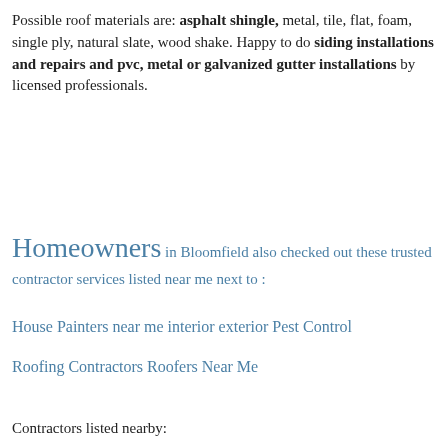Possible roof materials are: asphalt shingle, metal, tile, flat, foam, single ply, natural slate, wood shake. Happy to do siding installations and repairs and pvc, metal or galvanized gutter installations by licensed professionals.
Homeowners in Bloomfield also checked out these trusted contractor services listed near me next to :
House Painters near me interior exterior Pest Control
Roofing Contractors Roofers Near Me
Contractors listed nearby: